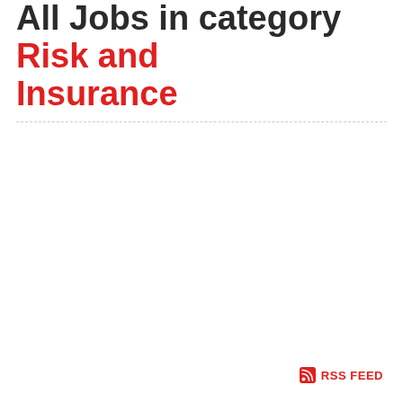All Jobs in category Risk and Insurance
RSS FEED